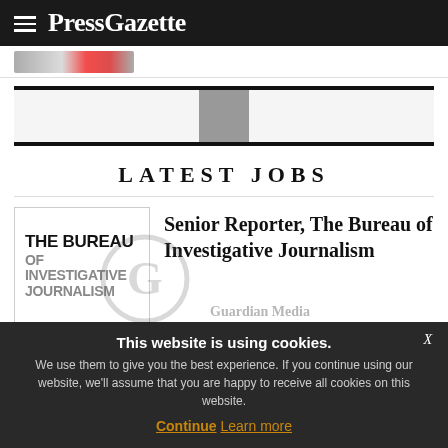PressGazette
[Figure (logo): Partially visible thumbnail image strip]
[Figure (other): Advertisement/promo block with gray center box between thick black horizontal rules]
LATEST JOBS
[Figure (logo): The Bureau of Investigative Journalism logo in a bordered box]
Senior Reporter, The Bureau of Investigative Journalism
This website is using cookies. We use them to give you the best experience. If you continue using our website, we'll assume that you are happy to receive all cookies on this website.
Continue  Learn more